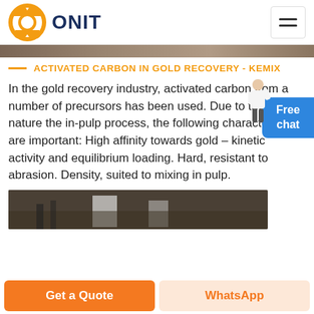ONIT
[Figure (photo): Partial view of industrial/mining scene at top of page]
ACTIVATED CARBON IN GOLD RECOVERY - KEMIX
In the gold recovery industry, activated carbon from a number of precursors has been used. Due to the nature the in-pulp process, the following characteristics are important: High affinity towards gold – kinetic activity and equilibrium loading. Hard, resistant to abrasion. Density, suited to mixing in pulp.
[Figure (photo): Industrial/mining facility bottom image strip]
Get a Quote | WhatsApp